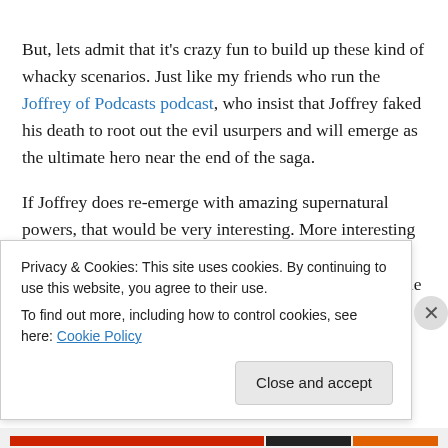But, lets admit that it's crazy fun to build up these kind of whacky scenarios. Just like my friends who run the Joffrey of Podcasts podcast, who insist that Joffrey faked his death to root out the evil usurpers and will emerge as the ultimate hero near the end of the saga.
If Joffrey does re-emerge with amazing supernatural powers, that would be very interesting. More interesting than just the show runners not obsessively thinking out all the weird permutations like people like me do. People who have little else to do than construct wild theories
Privacy & Cookies: This site uses cookies. By continuing to use this website, you agree to their use.
To find out more, including how to control cookies, see here: Cookie Policy